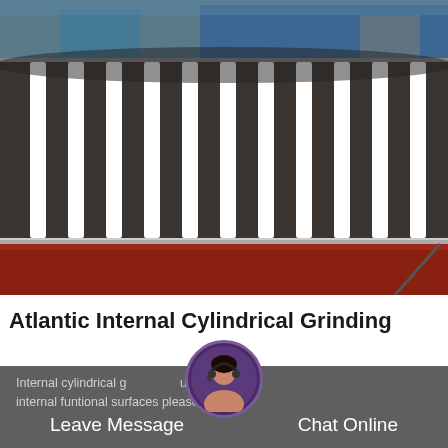[Figure (photo): Close-up photograph of large cylindrical grinding machine rollers with dark rubber/grinding surface and white stripe separators, with a red/maroon base structure visible below. Industrial manufacturing setting with blue equipment visible in background.]
Atlantic Internal Cylindrical Grinding
Internal cylindrical grinding is used to refine internal funtional surfaces please contact
Leave Message
Chat Online